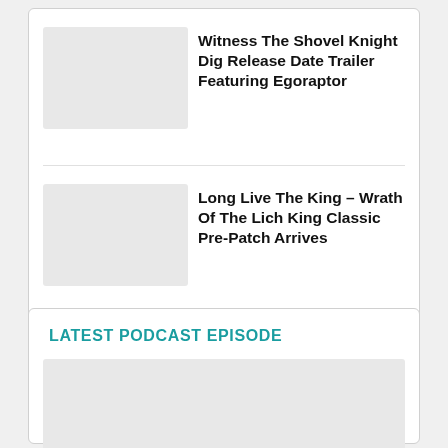Witness The Shovel Knight Dig Release Date Trailer Featuring Egoraptor
Long Live The King – Wrath Of The Lich King Classic Pre-Patch Arrives
LATEST PODCAST EPISODE